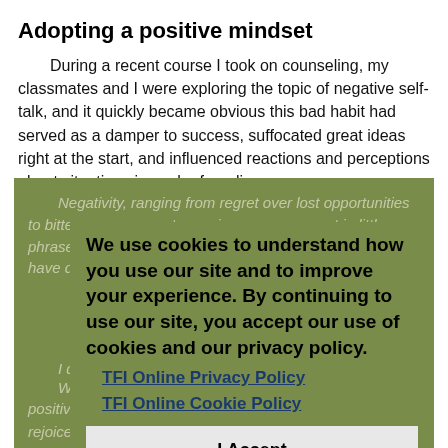Adopting a positive mindset
During a recent course I took on counseling, my classmates and I were exploring the topic of negative self-talk, and it quickly became obvious this bad habit had served as a damper to success, suffocated great ideas right at the start, and influenced reactions and perceptions about situations in each of our lives.
Negativity, ranging from regret over lost opportunities to bitterness over past experiences, comes out in little phrases, such as "Am I really that dumb?" or "How could I have done that?"
We use cookies to understand how you use our site and to improve your experience. By continuing to use our site, you accept our use of cookies and our privacy policy.
TFI Online Privacy Policy
TFI Online Cookie Policy
I Accept
I decided to embark on changing the way I think and made an effort to tune in to the messages that go through my mind. These are some of the strategies I have been learning about and trying to implement:
When a negative message pops up, replace it with a positive one. "Rejoice in the Lord always. Again I will say, rejoice!"15